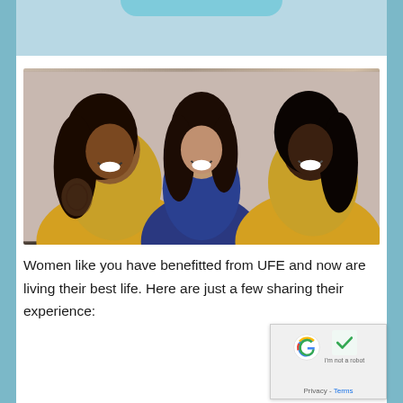[Figure (photo): Top banner area with light blue background and curved top element]
[Figure (photo): Three women laughing together, two wearing yellow/mustard off-shoulder tops and one in a blue outfit, posed against a grey background]
Women like you have benefitted from UFE and now are living their best life. Here are just a few sharing their experience: